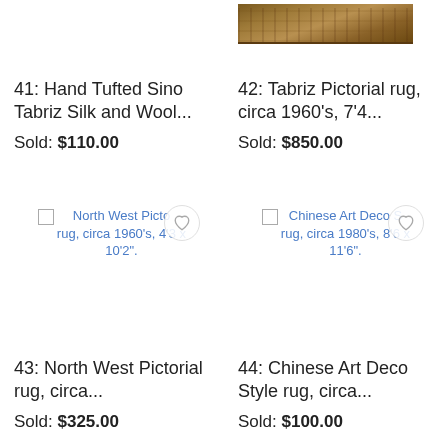41: Hand Tufted Sino Tabriz Silk and Wool... Sold: $110.00
42: Tabriz Pictorial rug, circa 1960's, 7'4... Sold: $850.00
[Figure (photo): Broken image placeholder for North West Pictorial rug, circa 1960's, 4'3 x 10'2" with heart/favorite overlay icon]
[Figure (photo): Broken image placeholder for Chinese Art Deco Style rug, circa 1980's, 8'6 x 11'6" with heart/favorite overlay icon]
43: North West Pictorial rug, circa... Sold: $325.00
44: Chinese Art Deco Style rug, circa... Sold: $100.00